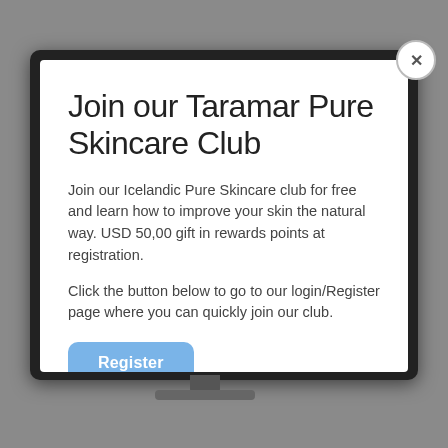[Figure (screenshot): Screenshot of a website popup modal on a monitor display. The modal shows a 'Join our Taramar Pure Skincare Club' promotional overlay with descriptive text and a Register button. The monitor has a dark bezel and is shown against a grey background.]
Join our Taramar Pure Skincare Club
Join our Icelandic Pure Skincare club for free and learn how to improve your skin the natural way. USD 50,00 gift in rewards points at registration.
Click the button below to go to our login/Register page where you can quickly join our club.
Register